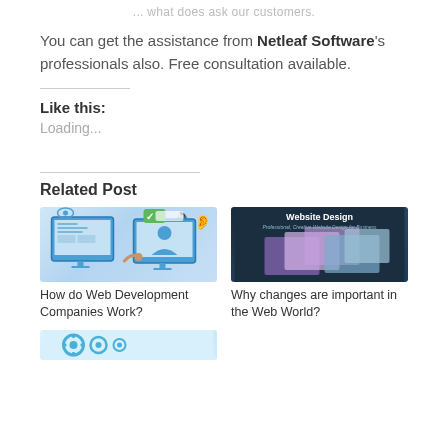... what does ask our customers.
You can get the assistance from Netleaf Software's professionals also. Free consultation available.
Like this:
Loading...
Related Post
[Figure (illustration): Illustration showing web development with a monitor, eye, ear icons and a hand interacting with a screen wireframe]
How do Web Development Companies Work?
[Figure (screenshot): Dark background image with text: Website Design - Professional, Creative Website Design for Business - with website mockup screenshots]
Why changes are important in the Web World?
[Figure (illustration): Partial illustration with blue gear/cog icons on light blue background]